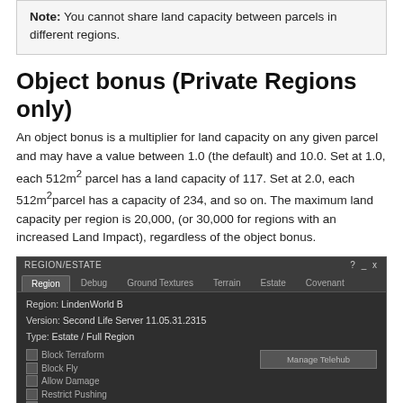Note: You cannot share land capacity between parcels in different regions.
Object bonus (Private Regions only)
An object bonus is a multiplier for land capacity on any given parcel and may have a value between 1.0 (the default) and 10.0. Set at 1.0, each 512m² parcel has a land capacity of 117. Set at 2.0, each 512m² parcel has a capacity of 234, and so on. The maximum land capacity per region is 20,000, (or 30,000 for regions with an increased Land Impact), regardless of the object bonus.
[Figure (screenshot): Screenshot of the Second Life REGION/ESTATE dialog showing Region tab with LindenWorld B, Version: Second Life Server 11.05.31.2315, Type: Estate / Full Region, and various checkboxes including Block Terraform, Block Fly, Allow Damage, Restrict Pushing, Allow Land Resell (checked), Allow Land Join/Divide (checked), Block Land Show in Search, plus a Manage Telehub button.]